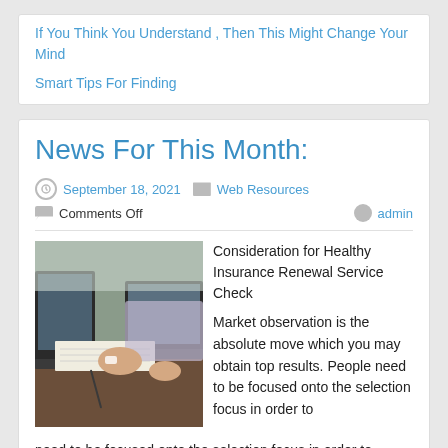If You Think You Understand , Then This Might Change Your Mind
Smart Tips For Finding
News For This Month:
September 18, 2021   Web Resources   Comments Off   admin
[Figure (photo): Two people at a desk with laptops, one writing on paper]
Consideration for Healthy Insurance Renewal Service Check
Market observation is the absolute move which you may obtain top results. People need to be focused onto the selection focus in order to safeguard better insurance renewal service providers. The